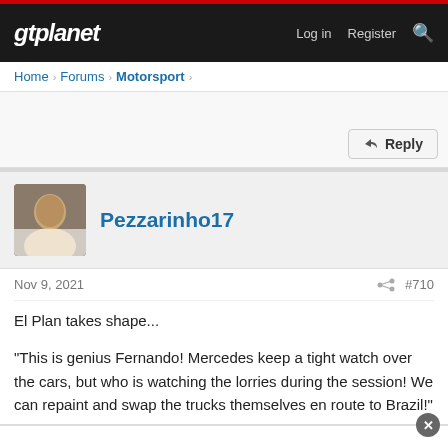gtplanet | Log in  Register
Home > Forums > Motorsport >
Reply
Pezzarinho17
Nov 9, 2021  #710
El Plan takes shape...

"This is genius Fernando! Mercedes keep a tight watch over the cars, but who is watching the lorries during the session! We can repaint and swap the trucks themselves en route to Brazil!"